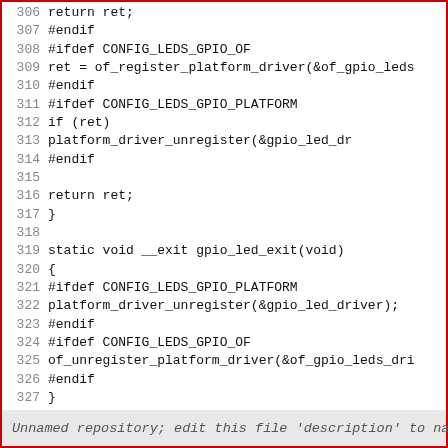[Figure (screenshot): Source code listing showing lines 306-334 of a Linux kernel GPIO LED driver C source file, with line numbers on the left and code on the right.]
Unnamed repository; edit this file 'description' to name the re